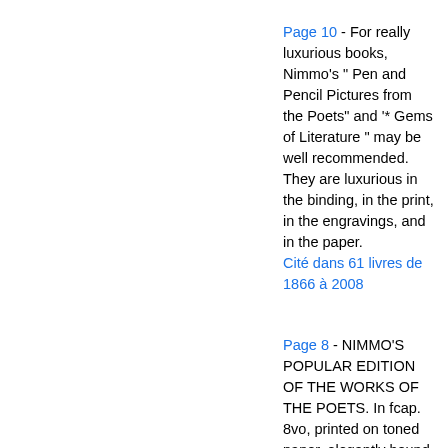Page 10 - For really luxurious books, Nimmo's " Pen and Pencil Pictures from the Poets" and '* Gems of Literature " may be well recommended. They are luxurious in the binding, in the print, in the engravings, and in the paper. Cité dans 61 livres de 1866 à 2008
Page 8 - NIMMO'S POPULAR EDITION OF THE WORKS OF THE POETS. In fcap. 8vo, printed on toned paper, elegantly bound in cloth extra, gilt edges, price 3s. 6d. each ; or in